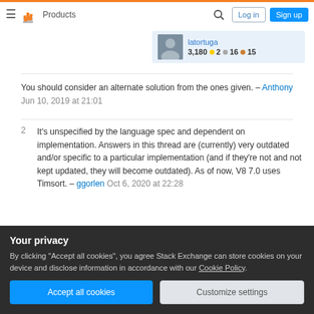≡  [Stack Overflow logo]  Products  [search icon]  Log in  Sign up
latortuga  3,180 ●2 ●16 ●15
You should consider an alternate solution from the ones given. – Anthony Jun 10, 2019 at 21:01
2  It's unspecified by the language spec and dependent on implementation. Answers in this thread are (currently) very outdated and/or specific to a particular implementation (and if they're not and not kept updated, they will become outdated). As of now, V8 7.0 uses Timsort. – ggorlen Oct 6, 2020 at 22:28
Your privacy
By clicking "Accept all cookies", you agree Stack Exchange can store cookies on your device and disclose information in accordance with our Cookie Policy.
Accept all cookies  Customize settings